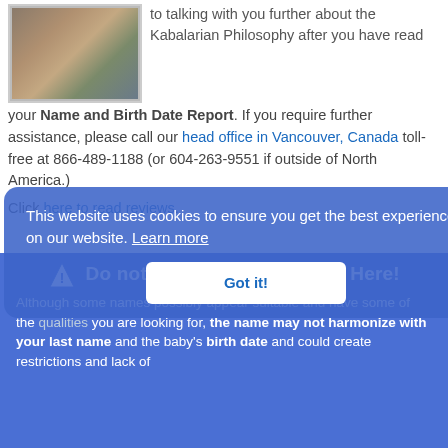[Figure (photo): Group photo of several people standing together]
to talking with you further about the Kabalarian Philosophy after you have read your Name and Birth Date Report. If you require further assistance, please call our head office in Vancouver, Canada toll-free at 866-489-1188 (or 604-263-9551 if outside of North America.)
Click here to read reviews.
This website uses cookies to ensure you get the best experience on our website. Learn more
Got it!
Do not Choose Baby Names Here!
Although some names possibly appear suitable and have some of the qualities you are looking for, the name may not harmonize with your last name and the baby's birth date and could create restrictions and lack of